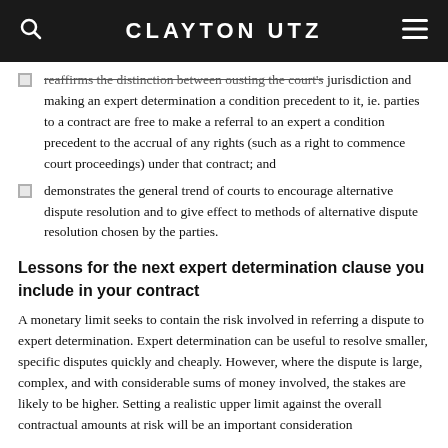CLAYTON UTZ
reaffirms the distinction between ousting the court's jurisdiction and making an expert determination a condition precedent to it, ie. parties to a contract are free to make a referral to an expert a condition precedent to the accrual of any rights (such as a right to commence court proceedings) under that contract; and
demonstrates the general trend of courts to encourage alternative dispute resolution and to give effect to methods of alternative dispute resolution chosen by the parties.
Lessons for the next expert determination clause you include in your contract
A monetary limit seeks to contain the risk involved in referring a dispute to expert determination. Expert determination can be useful to resolve smaller, specific disputes quickly and cheaply. However, where the dispute is large, complex, and with considerable sums of money involved, the stakes are likely to be higher. Setting a realistic upper limit against the overall contractual amounts at risk will be an important consideration